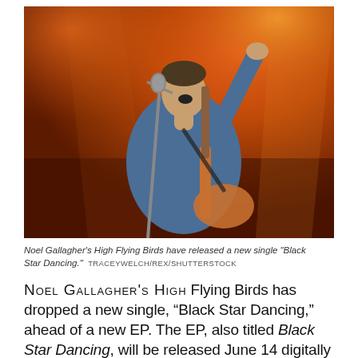[Figure (photo): Concert photo of a male musician (Noel Gallagher) singing passionately into a microphone with one arm raised, wearing a denim jacket and playing a guitar, against an orange-lit stage background.]
Noel Gallagher's High Flying Birds have released a new single "Black Star Dancing."  TRACEYWELCH/REX/SHUTTERSTOCK
NOEL GALLAGHER'S HIGH Flying Birds has dropped a new single, “Black Star Dancing,” ahead of a new EP. The EP, also titled Black Star Dancing, will be released June 14 digitally and on 12” vinyl.